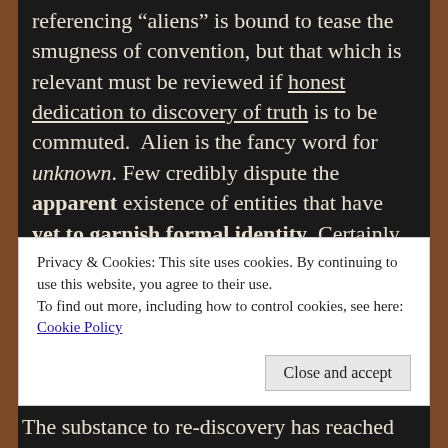referencing "aliens" is bound to tease the smugness of convention, but that which is relevant must be reviewed if honest dedication to discovery of truth is to be commuted. Alien is the fancy word for unknown. Few credibly dispute the apparent existence of entities that have yet to garnish formal identity. Certainly, in most cases, identified attributes suggest existences beyond physical. Some reliable accounts have only been made possible through mediums such as regressive hypnosis. It seems these strange beings can infiltrate dreams. Psychology has never deliberately clarified whether dreamscape is a different form of reality
Privacy & Cookies: This site uses cookies. By continuing to use this website, you agree to their use.
To find out more, including how to control cookies, see here: Cookie Policy
Close and accept
The substance to re-discovery has reached